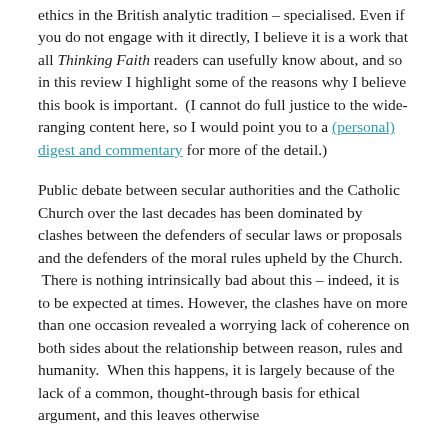ethics in the British analytic tradition – specialised. Even if you do not engage with it directly, I believe it is a work that all Thinking Faith readers can usefully know about, and so in this review I highlight some of the reasons why I believe this book is important. (I cannot do full justice to the wide-ranging content here, so I would point you to a (personal) digest and commentary for more of the detail.)
Public debate between secular authorities and the Catholic Church over the last decades has been dominated by clashes between the defenders of secular laws or proposals and the defenders of the moral rules upheld by the Church. There is nothing intrinsically bad about this – indeed, it is to be expected at times. However, the clashes have on more than one occasion revealed a worrying lack of coherence on both sides about the relationship between reason, rules and humanity. When this happens, it is largely because of the lack of a common, thought-through basis for ethical argument, and this leaves otherwise